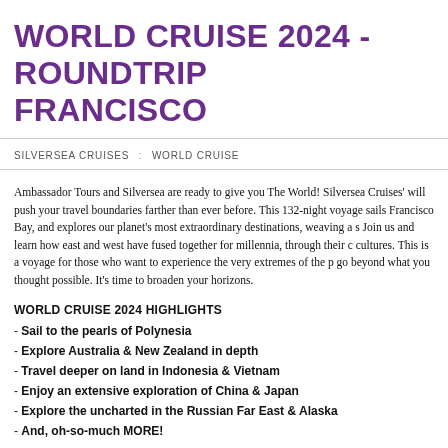WORLD CRUISE 2024 - ROUNDTRIP SAN FRANCISCO
SILVERSEA CRUISES : WORLD CRUISE
Ambassador Tours and Silversea are ready to give you The World! Silversea Cruises' will push your travel boundaries farther than ever before. This 132-night voyage sails Francisco Bay, and explores our planet's most extraordinary destinations, weaving a s Join us and learn how east and west have fused together for millennia, through their c cultures. This is a voyage for those who want to experience the very extremes of the p go beyond what you thought possible. It's time to broaden your horizons.
WORLD CRUISE 2024 HIGHLIGHTS
- Sail to the pearls of Polynesia
- Explore Australia & New Zealand in depth
- Travel deeper on land in Indonesia & Vietnam
- Enjoy an extensive exploration of China & Japan
- Explore the uncharted in the Russian Far East & Alaska
- And, oh-so-much MORE!
Exclusive Pre-sale for 2024 World Cruise is open to 2022 & 2023 past cruisers NOW travelers beginning August 4th. Ready to Broaden Your Horizons? Contact your favo Tours TODAY!